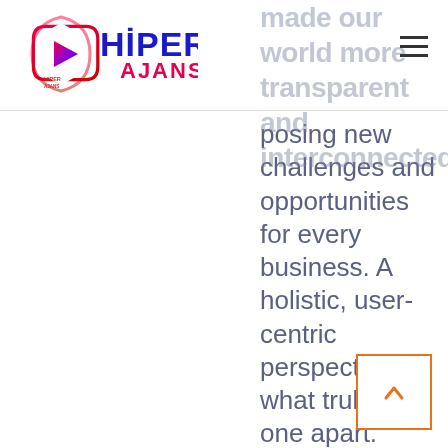Hiper Ajans logo and navigation header
made our world more transparent and interconnected, posing new challenges and opportunities for every business. A holistic, user-centric perspective is what truly sets one apart. together for the first time. We provide elegant solutions